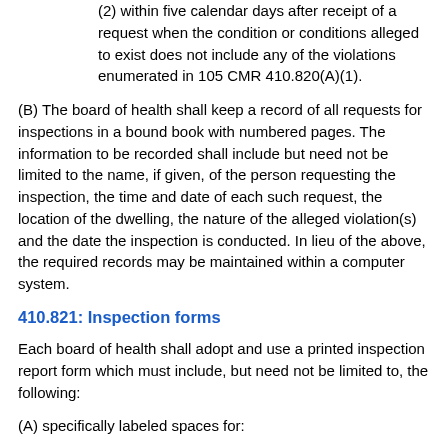(2) within five calendar days after receipt of a request when the condition or conditions alleged to exist does not include any of the violations enumerated in 105 CMR 410.820(A)(1).
(B) The board of health shall keep a record of all requests for inspections in a bound book with numbered pages. The information to be recorded shall include but need not be limited to the name, if given, of the person requesting the inspection, the time and date of each such request, the location of the dwelling, the nature of the alleged violation(s) and the date the inspection is conducted. In lieu of the above, the required records may be maintained within a computer system.
410.821: Inspection forms
Each board of health shall adopt and use a printed inspection report form which must include, but need not be limited to, the following:
(A) specifically labeled spaces for:
(1) name of the inspector;
(2) the date and time of the inspection or investigation;